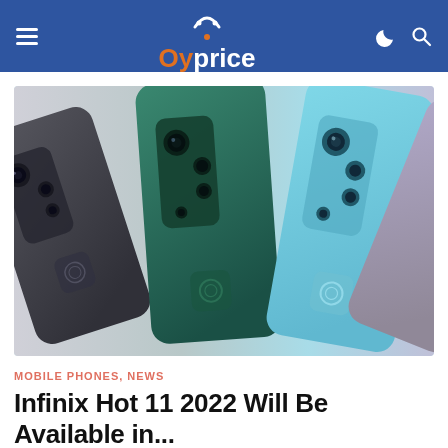Oyprice
[Figure (photo): Three smartphones shown from the back, displayed in dark gray, teal/green, and light blue colors, each with a quad-camera array and fingerprint sensor, arranged in a fan-like layout.]
MOBILE PHONES, NEWS
Infinix Hot 11 2022 Will Be Available in...